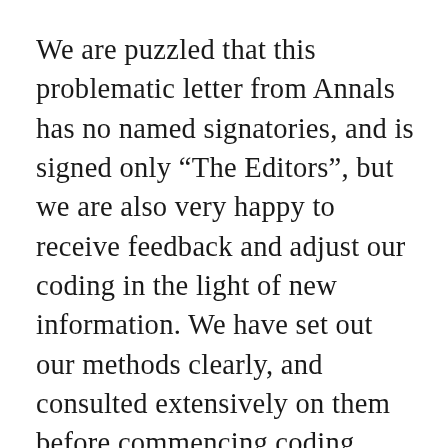We are puzzled that this problematic letter from Annals has no named signatories, and is signed only “The Editors”, but we are also very happy to receive feedback and adjust our coding in the light of new information. We have set out our methods clearly, and consulted extensively on them before commencing coding. From the content of their letter it would seem that the editors of Annals have gone through COMPare’s assessments on trials in